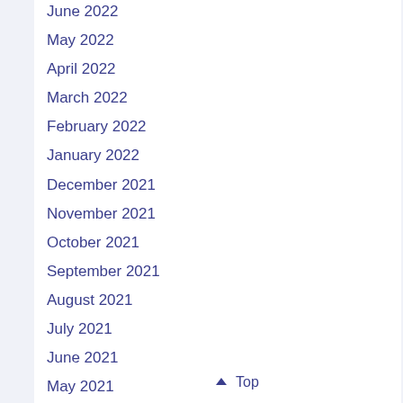June 2022
May 2022
April 2022
March 2022
February 2022
January 2022
December 2021
November 2021
October 2021
September 2021
August 2021
July 2021
June 2021
May 2021
April 2021
March 2021
February 2021
January 2021
↑ Top